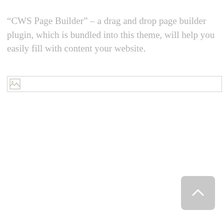“CWS Page Builder” – a drag and drop page builder plugin, which is bundled into this theme, will help you easily fill with content your website.
[Figure (other): Broken image placeholder with small broken-image icon and border]